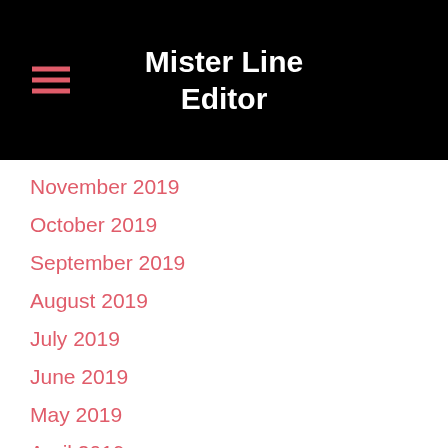Mister Line Editor
November 2019
October 2019
September 2019
August 2019
July 2019
June 2019
May 2019
April 2019
March 2019
February 2019
January 2019
December 2018
November 2018
October 2018
September 2018